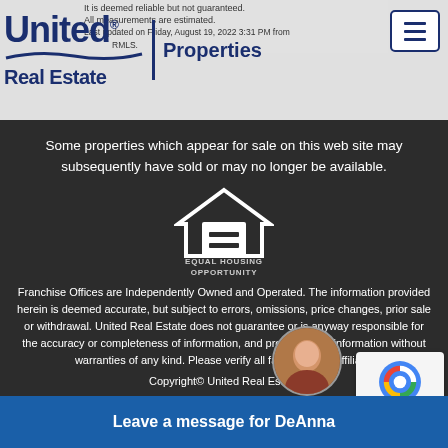[Figure (logo): United Real Estate logo with blue text and wave graphic, plus Properties text]
It is deemed reliable but not guaranteed. All measurements are estimated. Last updated on Friday, August 19, 2022 3:31 PM from RMLS.
Some properties which appear for sale on this web site may subsequently have sold or may no longer be available.
[Figure (logo): Equal Housing Opportunity logo - white house outline with equal sign square]
EQUAL HOUSING
OPPORTUNITY
Franchise Offices are Independently Owned and Operated. The information provided herein is deemed accurate, but subject to errors, omissions, price changes, prior sale or withdrawal. United Real Estate does not guarantee or is anyway responsible for the accuracy or completeness of information, and provides said information without warranties of any kind. Please verify all facts with the affiliate.
Copyright© United Real Estate
Leave a message for DeAnna